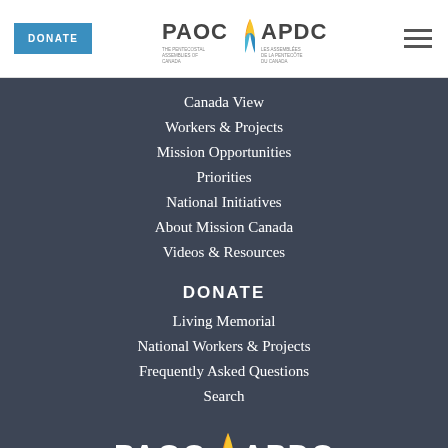[Figure (logo): PAOC APDC logo with open book icon in header]
Canada View
Workers & Projects
Mission Opportunities
Priorities
National Initiatives
About Mission Canada
Videos & Resources
DONATE
Living Memorial
National Workers & Projects
Frequently Asked Questions
Search
[Figure (logo): PAOC APDC logo at bottom of page on dark background]